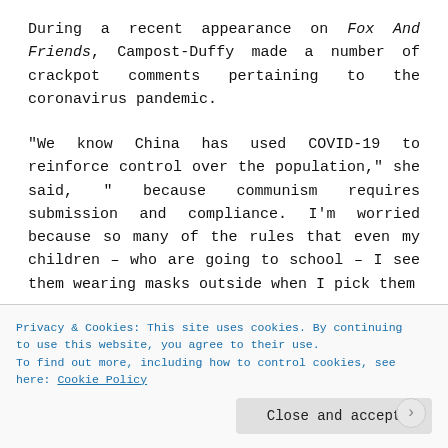During a recent appearance on Fox And Friends, Campost-Duffy made a number of crackpot comments pertaining to the coronavirus pandemic.
“We know China has used COVID-19 to reinforce control over the population,” she said, ” because communism requires submission and compliance. I’m worried because so many of the rules that even my children – who are going to school – I see them wearing masks outside when I pick them
Privacy & Cookies: This site uses cookies. By continuing to use this website, you agree to their use.
To find out more, including how to control cookies, see here: Cookie Policy
Close and accept